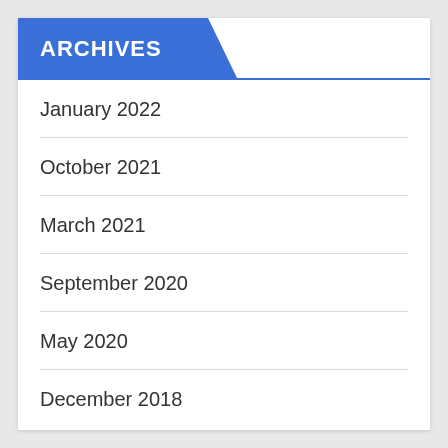ARCHIVES
January 2022
October 2021
March 2021
September 2020
May 2020
December 2018